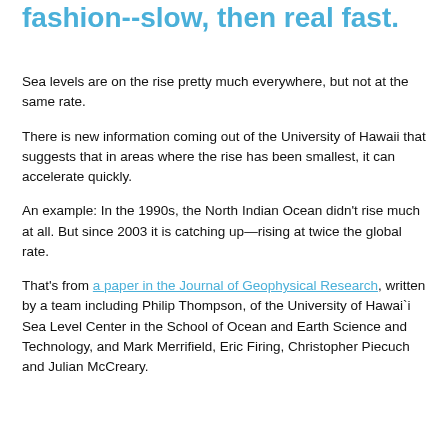fashion--slow, then real fast.
Sea levels are on the rise pretty much everywhere, but not at the same rate.
There is new information coming out of the University of Hawaii that suggests that in areas where the rise has been smallest, it can accelerate quickly.
An example: In the 1990s, the North Indian Ocean didn’t rise much at all. But since 2003 it is catching up—rising at twice the global rate.
That’s from a paper in the Journal of Geophysical Research, written by a team including Philip Thompson, of the University of Hawai`i Sea Level Center in the School of Ocean and Earth Science and Technology, and Mark Merrifield, Eric Firing, Christopher Piecuch and Julian McCreary.